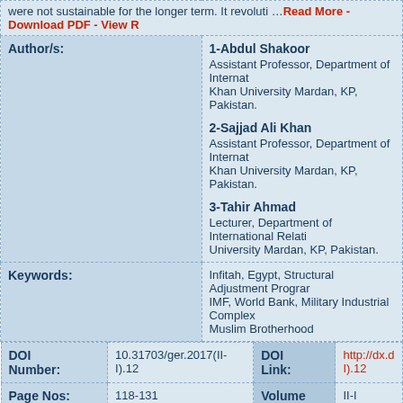were not sustainable for the longer term. It revoluti … Read More - Download PDF - View R
1-Abdul Shakoor
Assistant Professor, Department of International Relations, Khan University Mardan, KP, Pakistan.

2-Sajjad Ali Khan
Assistant Professor, Department of International Relations, Khan University Mardan, KP, Pakistan.

3-Tahir Ahmad
Lecturer, Department of International Relations, University Mardan, KP, Pakistan.
Keywords: Infitah, Egypt, Structural Adjustment Program, IMF, World Bank, Military Industrial Complex, Muslim Brotherhood
| DOI Number: | 10.31703/ger.2017(II-I).12 | DOI Link: | http://dx.d… I).12 |
| --- | --- | --- | --- |
| Page Nos: | 118-131 | Volume & | II-I |